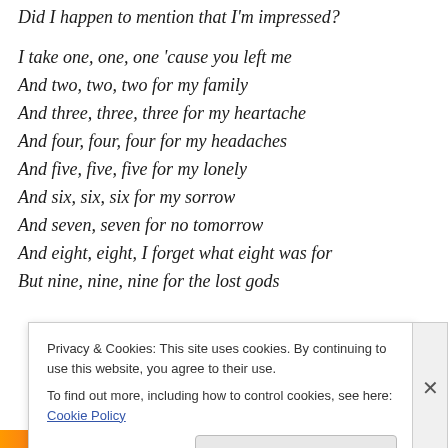Did I happen to mention that I'm impressed?
I take one, one, one 'cause you left me
And two, two, two for my family
And three, three, three for my heartache
And four, four, four for my headaches
And five, five, five for my lonely
And six, six, six for my sorrow
And seven, seven for no tomorrow
And eight, eight, I forget what eight was for
But nine, nine, nine for the lost gods
Privacy & Cookies: This site uses cookies. By continuing to use this website, you agree to their use. To find out more, including how to control cookies, see here: Cookie Policy
Close and accept